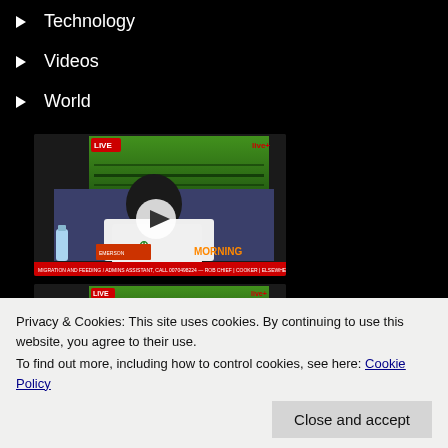Technology
Videos
World
[Figure (screenshot): Video thumbnail showing a man in a white t-shirt seated at a desk with a TV screen in background showing green graphics, a LIVE badge, a play button overlay, and a news ticker at the bottom]
[Figure (screenshot): Second video thumbnail showing a person with a TV screen in background showing green graphics and a LIVE badge]
Privacy & Cookies: This site uses cookies. By continuing to use this website, you agree to their use.
To find out more, including how to control cookies, see here: Cookie Policy
Close and accept